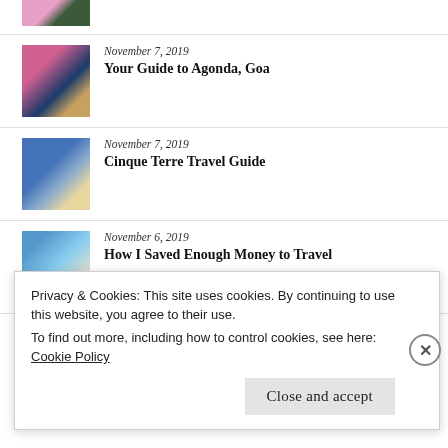[Figure (photo): Partial thumbnail image at top, cropped travel photo]
November 7, 2019
Your Guide to Agonda, Goa
[Figure (photo): Thumbnail of Agonda Goa beach with pink/purple sky and silhouette]
November 7, 2019
Cinque Terre Travel Guide
[Figure (photo): Thumbnail of Cinque Terre colorful coast]
November 6, 2019
How I Saved Enough Money to Travel
[Figure (photo): Thumbnail of tropical beach with person and dog]
November 4, 2019
Your Guide to 2 Weeks in Panama: Part 2 Bocas Del Toro
[Figure (photo): Partial thumbnail of Panama travel photo]
Privacy & Cookies: This site uses cookies. By continuing to use this website, you agree to their use.
To find out more, including how to control cookies, see here: Cookie Policy
Close and accept